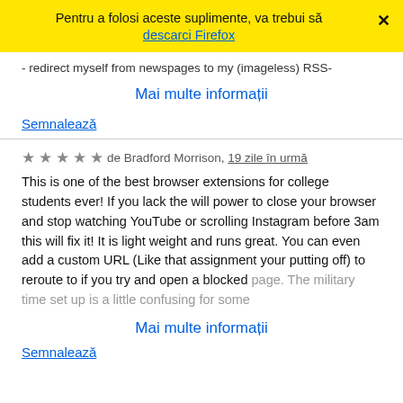Pentru a folosi aceste suplimente, va trebui să descarci Firefox
- redirect myself from newspages to my (imageless) RSS-
Mai multe informații
Semnalează
de Bradford Morrison, 19 zile în urmă
This is one of the best browser extensions for college students ever! If you lack the will power to close your browser and stop watching YouTube or scrolling Instagram before 3am this will fix it! It is light weight and runs great. You can even add a custom URL (Like that assignment your putting off) to reroute to if you try and open a blocked page. The military time set up is a little confusing for some
Mai multe informații
Semnalează